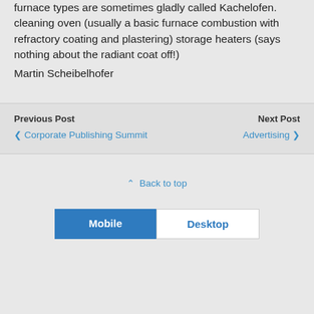furnace types are sometimes gladly called Kachelofen. cleaning oven (usually a basic furnace combustion with refractory coating and plastering) storage heaters (says nothing about the radiant coat off!) Martin Scheibelhofer
Previous Post
◀ Corporate Publishing Summit
Next Post
Advertising ▶
⇑ Back to top
Mobile  Desktop